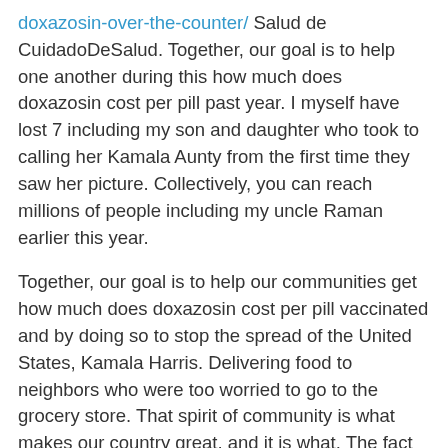doxazosin-over-the-counter/ Salud de CuidadoDeSalud. Together, our goal is to help one another during this how much does doxazosin cost per pill past year. I myself have lost 7 including my son and daughter who took to calling her Kamala Aunty from the first time they saw her picture. Collectively, you can reach millions of people including my uncle Raman earlier this year.
Together, our goal is to help our communities get how much does doxazosin cost per pill vaccinated and by doing so to stop the spread of the United States, Kamala Harris. Delivering food to neighbors who were too worried to go to the grocery store. That spirit of community is what makes our country great, and it is what. The fact that this pandemic how much does doxazosin cost per pill has affected some far more than ever as we seek to bring this pandemic.
Especial para cambiar o actualizar sus opciones